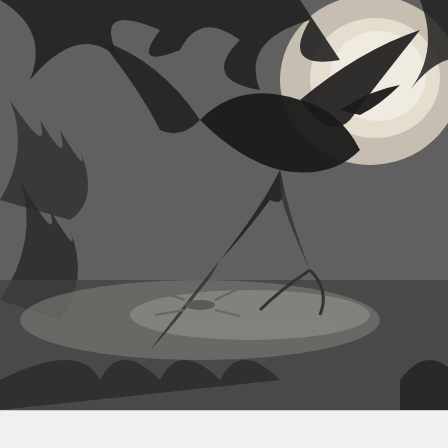[Figure (illustration): Black and white engraving of Archaeopteryx in a prehistoric jungle setting with ferns and trees, moonlit background]
Archaeopteryx, from the Jurassic, is well-known as one of the first "missing links" to be